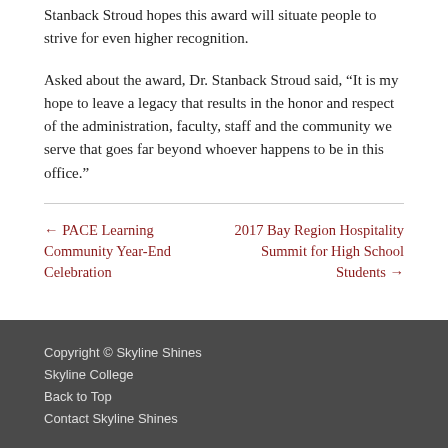Stanback Stroud hopes this award will situate people to strive for even higher recognition.
Asked about the award, Dr. Stanback Stroud said, “It is my hope to leave a legacy that results in the honor and respect of the administration, faculty, staff and the community we serve that goes far beyond whoever happens to be in this office.”
← PACE Learning Community Year-End Celebration
2017 Bay Region Hospitality Summit for High School Students →
Copyright © Skyline Shines
Skyline College
Back to Top
Contact Skyline Shines